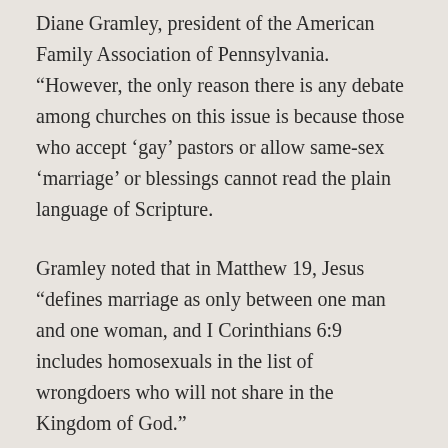Diane Gramley, president of the American Family Association of Pennsylvania. “However, the only reason there is any debate among churches on this issue is because those who accept ‘gay’ pastors or allow same-sex ‘marriage’ or blessings cannot read the plain language of Scripture.
Gramley noted that in Matthew 19, Jesus “defines marriage as only between one man and one woman, and I Corinthians 6:9 includes homosexuals in the list of wrongdoers who will not share in the Kingdom of God.”
“One cannot be a true Christian and be involved in a so-called same-sex marriage, thus World